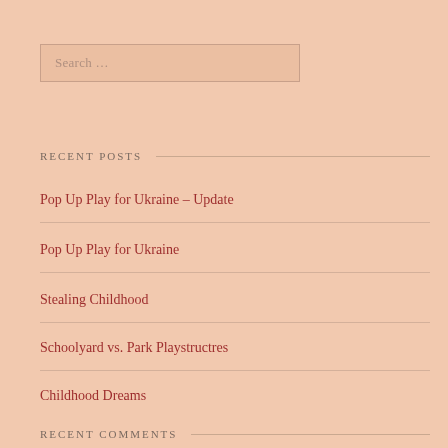Search …
RECENT POSTS
Pop Up Play for Ukraine – Update
Pop Up Play for Ukraine
Stealing Childhood
Schoolyard vs. Park Playstructres
Childhood Dreams
RECENT COMMENTS